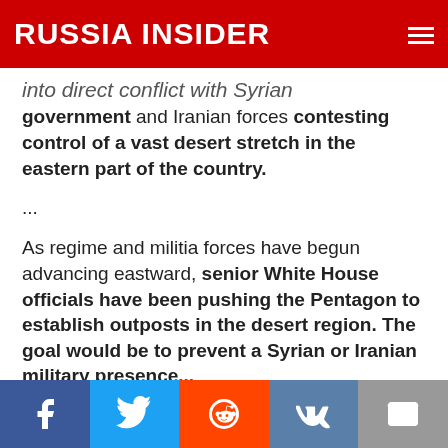RUSSIA INSIDER
into direct conflict with Syrian government and Iranian forces contesting control of a vast desert stretch in the eastern part of the country.
...
As regime and militia forces have begun advancing eastward, senior White House officials have been pushing the Pentagon to establish outposts in the desert region. The goal would be to prevent a Syrian or Iranian military presence...
Facebook | Twitter | Reddit | VK | Email